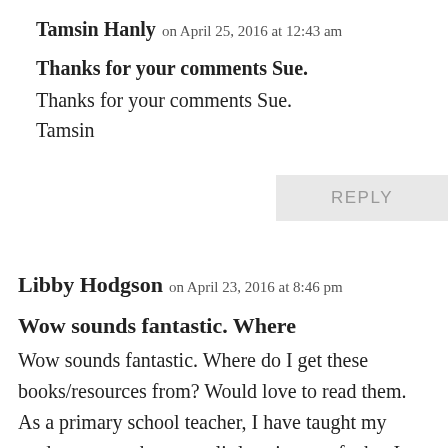Tamsin Hanly on April 25, 2016 at 12:43 am
Thanks for your comments Sue.
Thanks for your comments Sue.
Tamsin
REPLY
Libby Hodgson on April 23, 2016 at 8:46 pm
Wow sounds fantastic. Where
Wow sounds fantastic. Where do I get these books/resources from? Would love to read them. As a primary school teacher, I have taught my students, over the years, little snippets of what I know about local history about Māori and Pākehā relationships but never on the scale it